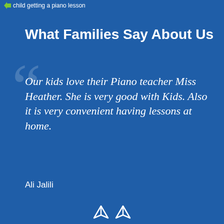child getting a piano lesson
What Families Say About Us
Our kids love their Piano teacher Miss Heather. She is very good with Kids. Also it is very convenient having lessons at home.
Ali Jalili